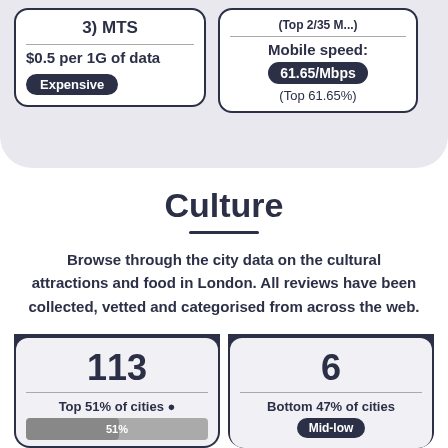3) MTS
$0.5 per 1G of data
Expensive
(Top 2/35 M...)
Mobile speed:
61.65/Mbps
(Top 61.65%)
Culture
Browse through the city data on the cultural attractions and food in London. All reviews have been collected, vetted and categorised from across the web.
# Things to do
113
Top 51% of cities
51%
# Nightlife
6
Bottom 47% of cities
Mid-low